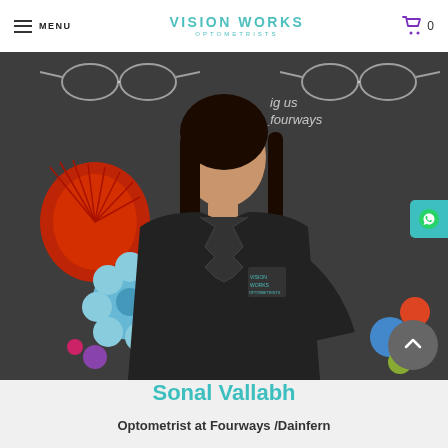MENU | VISION WORKS OPTOMETRISTS | 0
[Figure (photo): A woman named Sonal Vallabh wearing a black Vision Works Optometrists jacket, posing in front of a dark chalkboard background decorated with colorful paper flowers (red, blue, red) and text reading 'ig us ks_fourways']
Sonal Vallabh
Optometrist at Fourways /Dainfern